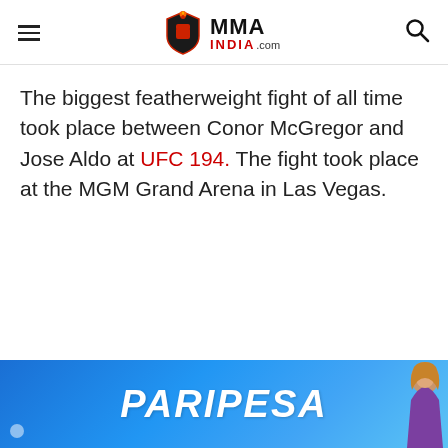MMA INDIA.com
The biggest featherweight fight of all time took place between Conor McGregor and Jose Aldo at UFC 194. The fight took place at the MGM Grand Arena in Las Vegas.
[Figure (infographic): PARIPESA advertisement banner with blue gradient background and a woman figure on the right side]